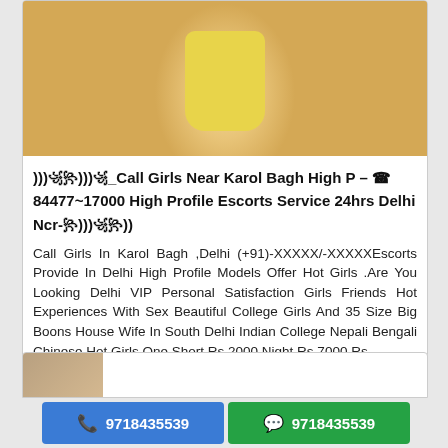[Figure (photo): Partial photo of a person wearing a yellow outfit, cropped at torso level]
)))꧁꧂)))꧁_Call Girls Near Karol Bagh High P – ☎ 84477~17000 High Profile Escorts Service 24hrs Delhi Ncr-꧂)))꧁꧂))
Call Girls In Karol Bagh ,Delhi (+91)-XXXXX/-XXXXXEscorts Provide In Delhi High Profile Models Offer Hot Girls .Are You Looking Delhi VIP Personal Satisfaction Girls Friends Hot Experiences With Sex Beautiful College Girls And 35 Size Big Boons House Wife In South Delhi Indian College Nepali Bengali Chinese Hot Girls One Short Rs 2000 Night Rs 7000 Best b...
21 years | Escorts | Chattarpur| Created : 29/07/2022
9718435539  9718435539